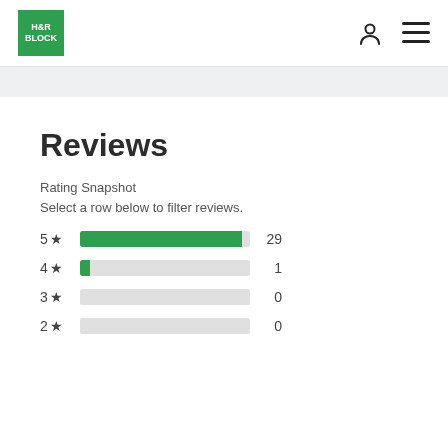H&R BLOCK
Reviews
Rating Snapshot
Select a row below to filter reviews.
[Figure (bar-chart): Rating Snapshot]